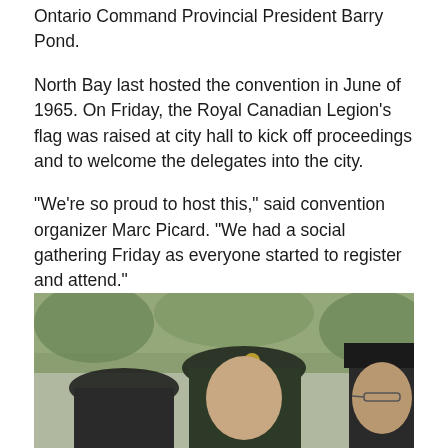Ontario Command Provincial President Barry Pond.
North Bay last hosted the convention in June of 1965. On Friday, the Royal Canadian Legion's flag was raised at city hall to kick off proceedings and to welcome the delegates into the city.
"We're so proud to host this," said convention organizer Marc Picard. "We had a social gathering Friday as everyone started to register and attend."
[Figure (photo): Two men wearing dark green military-style berets outdoors, one with a badge on his beret, green foliage visible in background.]